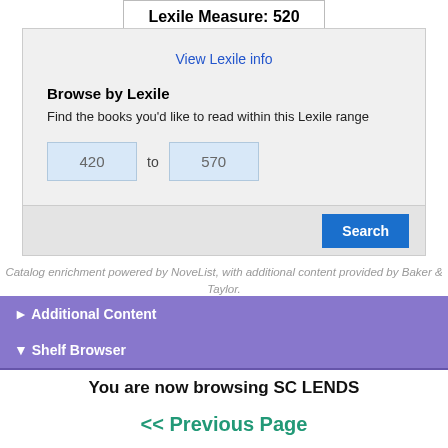Lexile Measure: 520
View Lexile info
Browse by Lexile
Find the books you'd like to read within this Lexile range
420 to 570
Search
Catalog enrichment powered by NoveList, with additional content provided by Baker & Taylor.
► Additional Content
▼ Shelf Browser
You are now browsing SC LENDS
<< Previous Page